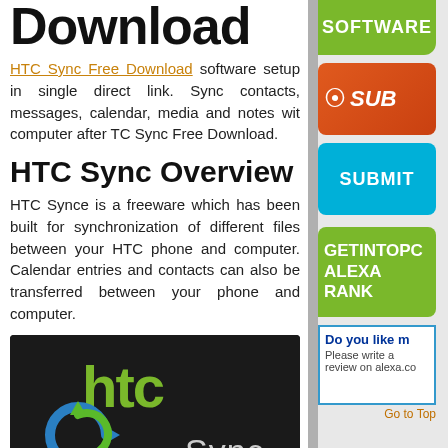Download
HTC Sync Free Download software setup in single direct link. Sync contacts, messages, calendar, media and notes wit computer after TC Sync Free Download.
HTC Sync Overview
HTC Synce is a freeware which has been built for synchronization of different files between your HTC phone and computer. Calendar entries and contacts can also be transferred between your phone and computer.
[Figure (logo): HTC Sync logo on dark background with green HTC text and circular sync arrow icon]
[Figure (other): SOFTWARE green button]
[Figure (other): Orange SUB/subscribe button with RSS icon]
[Figure (other): Cyan SUBMIT button]
[Figure (other): Green GETINTOPC ALEXA RANK badge]
Do you like m
Please write a
review on alexa.co
Go to Top